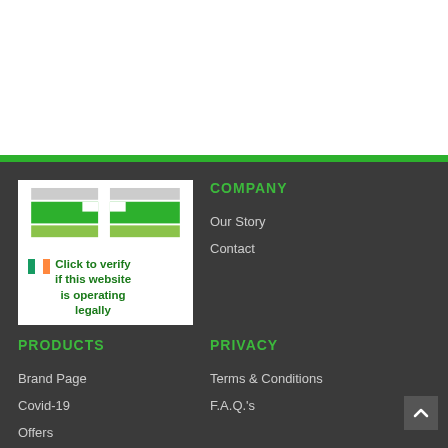[Figure (logo): Irish pharmacy verification badge with logo graphic and Irish flag, text: Click to verify if this website is operating legally]
COMPANY
Our Story
Contact
PRODUCTS
PRIVACY
Brand Page
Terms & Conditions
Covid-19
F.A.Q.'s
Offers